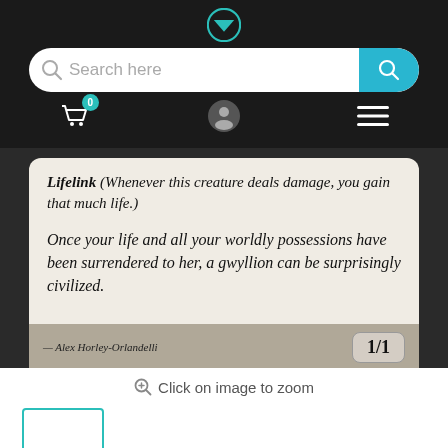[Figure (logo): Teal downward-pointing triangle/chevron logo icon in nav bar]
[Figure (screenshot): Search bar UI element with magnifying glass icon, 'Search here' placeholder text, and teal search button]
[Figure (screenshot): Navigation icons row: shopping cart with badge '0', user profile icon, hamburger menu icon]
[Figure (photo): Magic: The Gathering card close-up showing Lifelink ability text and flavor text, artist credit Alex Horley-Orlandelli, power/toughness 1/1, copyright 1993-2008 Wizards of the Coast]
Click on image to zoom
[Figure (screenshot): Thumbnail image selector box with teal border, selected state]